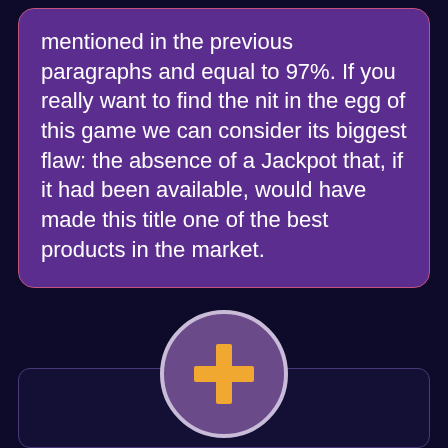mentioned in the previous paragraphs and equal to 97%. If you really want to find the nit in the egg of this game we can consider its biggest flaw: the absence of a Jackpot that, if it had been available, would have made this title one of the best products in the market.
[Figure (illustration): A circular icon with a light purple/lavender border and a dark purple fill, containing a gold/yellow plus (+) sign in the center. Below the icon is a dark navy rounded rectangle outline.]